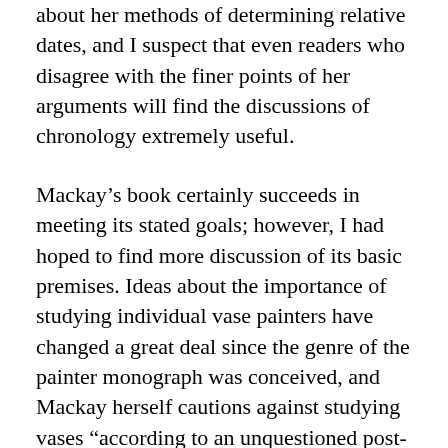about her methods of determining relative dates, and I suspect that even readers who disagree with the finer points of her arguments will find the discussions of chronology extremely useful.
Mackay's book certainly succeeds in meeting its stated goals; however, I had hoped to find more discussion of its basic premises. Ideas about the importance of studying individual vase painters have changed a great deal since the genre of the painter monograph was conceived, and Mackay herself cautions against studying vases “according to an unquestioned post-Renaissance set of categories” (5), noting the unlikelihood that Exekias was celebrated as a master painter in his time. What, then, is the value of the painter monograph in a field that increasingly de-emphasizes the individual artist? One potential answer emerging from Mackay’s discussion is that it provides a means to examine how artistic changes occur; she observes that “[a]lmost every one of [Exekias’] extant vases … seems to challenge his contemporaries’ horizon of expectations as established by the tradition within which he worked” (6). This formulation, borrowed from reception theory, may prove a useful weapon against the persistent tendency to